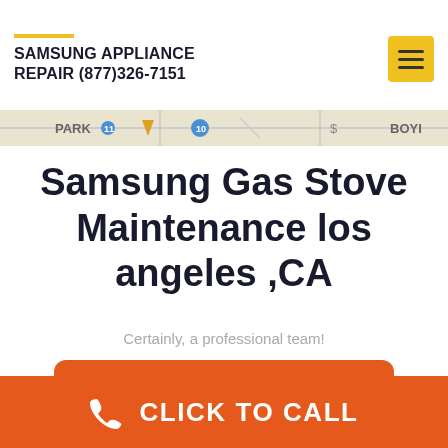SAMSUNG APPLIANCE REPAIR (877)326-7151
[Figure (map): Map strip showing PARK, route markers, and BOYI labels]
Samsung Gas Stove Maintenance los angeles ,CA
Certainly, a professional team!
FREE SERVICE CALL
CLICK TO CALL